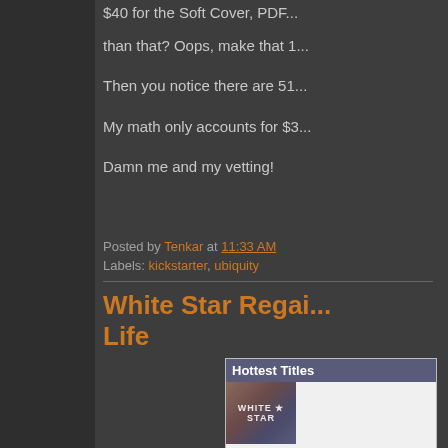$40 for the Soft Cover, PDF ... than that? Oops, make that 1...
Then you notice there are 51...
My math only accounts for $3...
Damn me and my vetting!
Posted by Tenkar at 11:33 AM
Labels: kickstarter, ubiquity
White Star Regai... Life
[Figure (screenshot): Hottest Titles box with White Star book cover image]